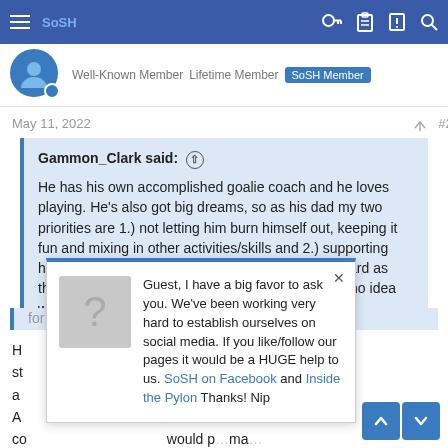SoSH navigation bar with menu, brand name, and icons
Well-Known Member  Lifetime Member  SoSH Member
May 11, 2022  #28
Gammon_Clark said: ↑

He has his own accomplished goalie coach and he loves playing. He's also got big dreams, so as his dad my two priorities are 1.) not letting him burn himself out, keeping it fun and mixing in other activities/skills and 2.) supporting him The latter looks to be challenging moving forward as there are 7 or 8 AAA teams in our area and I have no idea whom he should tryout for. The closest one has a [...]  for him. The flip
H[...] best for him? Is st[...] ? If so (speaking as a[...] onsider that. A[...] dedicate coa... co[...]  would p[...]ma... ahead of any game action he may see at various levels.
[Figure (screenshot): Popup notification asking Guest to follow SoSH on Facebook and Inside the Pylon social media pages, with a placeholder image showing a question mark, a close X button, and links to SoSH on Facebook and Inside the Pylon.]